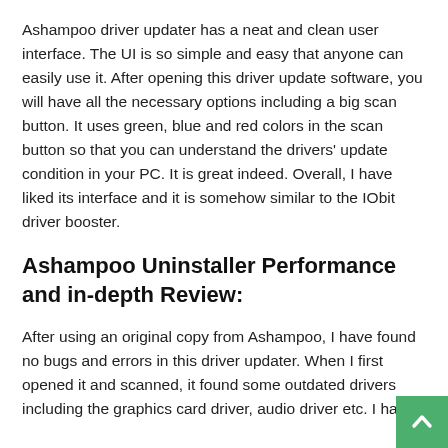Ashampoo driver updater has a neat and clean user interface. The UI is so simple and easy that anyone can easily use it. After opening this driver update software, you will have all the necessary options including a big scan button. It uses green, blue and red colors in the scan button so that you can understand the drivers' update condition in your PC. It is great indeed. Overall, I have liked its interface and it is somehow similar to the IObit driver booster.
Ashampoo Uninstaller Performance and in-depth Review:
After using an original copy from Ashampoo, I have found no bugs and errors in this driver updater. When I first opened it and scanned, it found some outdated drivers including the graphics card driver, audio driver etc. I have